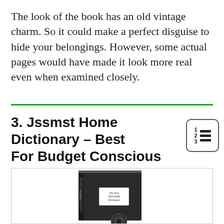The look of the book has an old vintage charm. So it could make a perfect disguise to hide your belongings. However, some actual pages would have made it look more real even when examined closely.
3. Jssmst Home Dictionary – Best For Budget Conscious User
[Figure (photo): Photo of a black book-shaped hidden safe/dictionary book with a label reading 'The New ENGLISH Dictionary' on the cover, shown with what appears to be a small lock or key at the bottom.]